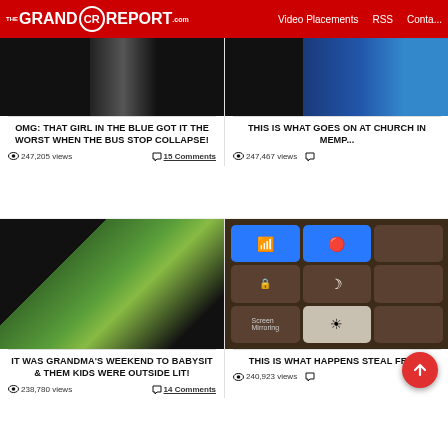The Grand Report .com | Video Placements | RSS | Contact
[Figure (photo): Video thumbnail showing a bus stop scene, mostly black/dark]
OMG: THAT GIRL IN THE BLUE GOT IT THE WORST WHEN THE BUS STOP COLLAPSE!
247,205 views   15 Comments
[Figure (photo): Video thumbnail, partially visible, mostly dark, a store visible]
THIS IS WHAT GOES ON AT CHURCH IN MEMP...
247,467 views
[Figure (photo): Outdoor scene with grass, buildings, people outside — grandma babysitting story]
IT WAS GRANDMA'S WEEKEND TO BABYSIT & THEM KIDS WERE OUTSIDE LIT!
238,780 views   14 Comments
[Figure (screenshot): iPhone control center screenshot with WiFi, Bluetooth, and other icons]
THIS IS WHAT HAPPENS STEAL FR... G
240,923 views